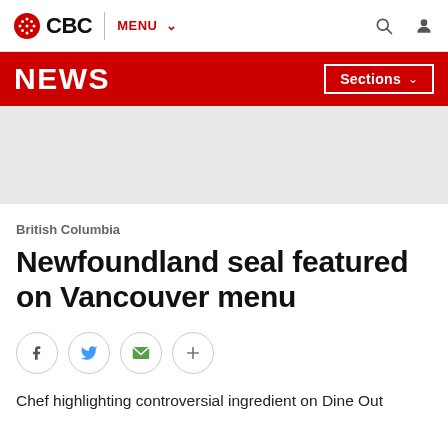CBC | MENU
NEWS  Sections
[Figure (other): Grey advertisement placeholder banner]
British Columbia
Newfoundland seal featured on Vancouver menu
[Figure (infographic): Social sharing buttons: Facebook, Twitter, Email, More (+)]
Chef highlighting controversial ingredient on Dine Out